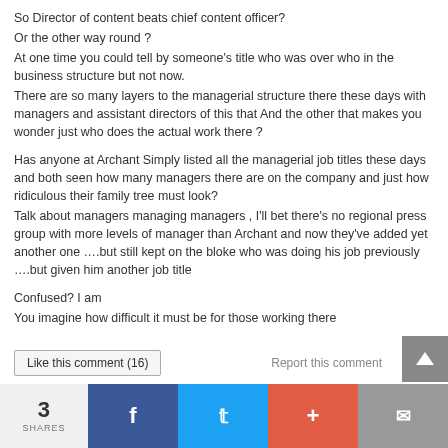So Director of content beats chief content officer?
Or the other way round ?
At one time you could tell by someone's title who was over who in the business structure but not now.
There are so many layers to the managerial structure there these days with managers and assistant directors of this that And the other that makes you wonder just who does the actual work there ?
Has anyone at Archant Simply listed all the managerial job titles these days and both seen how many managers there are on the company and just how ridiculous their family tree must look?
Talk about managers managing managers , I'll bet there's no regional press group with more levels of manager than Archant and now they've added yet another one ….but still kept on the bloke who was doing his job previously ….but given him another job title
Confused? I am
You imagine how difficult it must be for those working there
Like this comment (16)
Report this comment
3 SHARES